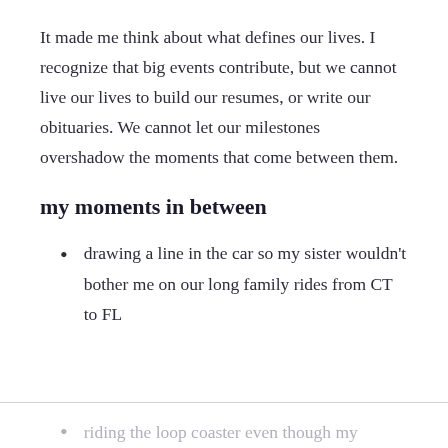It made me think about what defines our lives. I recognize that big events contribute, but we cannot live our lives to build our resumes, or write our obituaries. We cannot let our milestones overshadow the moments that come between them.
my moments in between
drawing a line in the car so my sister wouldn't bother me on our long family rides from CT to FL
riding the loop coaster even though my